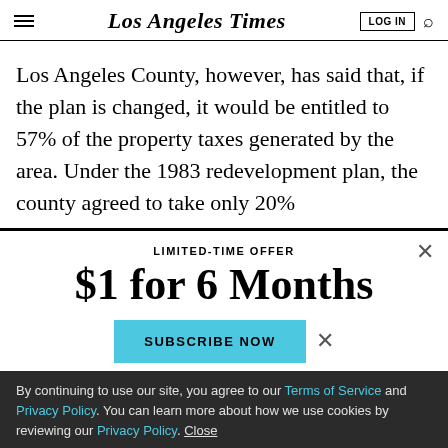Los Angeles Times
Los Angeles County, however, has said that, if the plan is changed, it would be entitled to 57% of the property taxes generated by the area. Under the 1983 redevelopment plan, the county agreed to take only 20%
LIMITED-TIME OFFER
$1 for 6 Months
SUBSCRIBE NOW
By continuing to use our site, you agree to our Terms of Service and Privacy Policy. You can learn more about how we use cookies by reviewing our Privacy Policy. Close